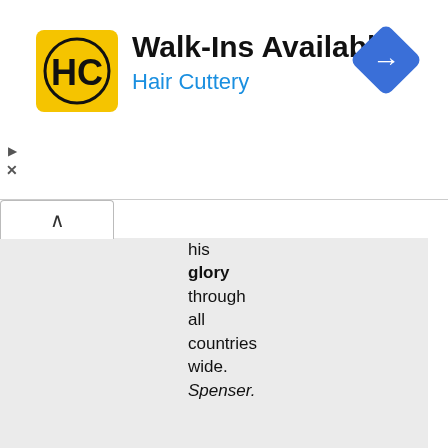[Figure (logo): Hair Cuttery advertisement banner with HC logo, title 'Walk-Ins Available', subtitle 'Hair Cuttery', and a blue navigation diamond icon on the right]
his glory through all countries wide. Spenser.
2.
That quality in a person or thing which secures general praise or honor; that which brings or gives renown; an object of pride or boast; the occasion of praise; excellency; brilliancy; splendor.
Think it no glory to swell in